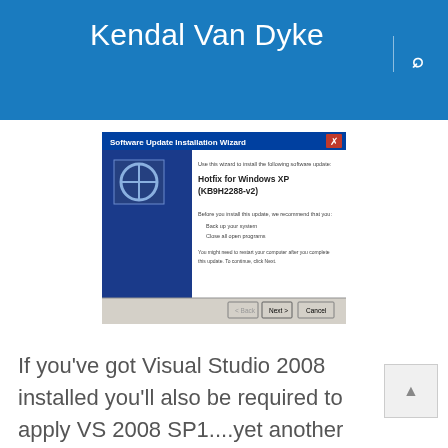Kendal Van Dyke
[Figure (screenshot): Windows XP Software Update Installation Wizard dialog showing 'Hotfix for Windows XP (KB9H2288-v2)' with Back, Next, and Cancel buttons.]
If you've got Visual Studio 2008 installed you'll also be required to apply VS 2008 SP1....yet another download,